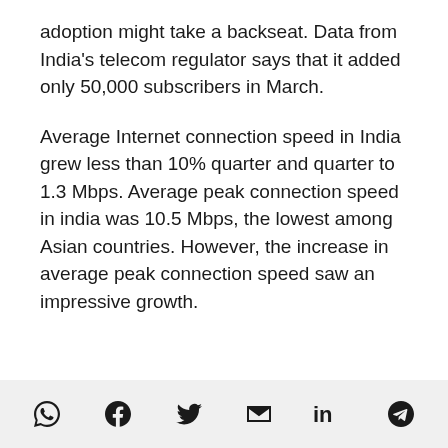adoption might take a backseat. Data from India’s telecom regulator says that it added only 50,000 subscribers in March.
Average Internet connection speed in India grew less than 10% quarter and quarter to 1.3 Mbps. Average peak connection speed in india was 10.5 Mbps, the lowest among Asian countries. However, the increase in average peak connection speed saw an impressive growth.
[Figure (other): Social share icons: WhatsApp, Facebook, Twitter, Email, LinkedIn, Telegram]